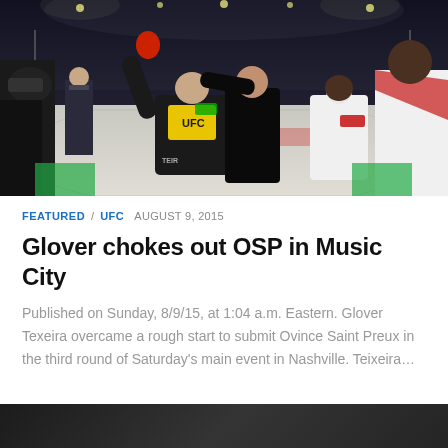[Figure (photo): UFC fighter Glover Teixeira with arm raised by referee in octagon after victory over OSP, with other fighters visible in background]
FEATURED / UFC  AUGUST 9, 2015
Glover chokes out OSP in Music City
Published on Sunday, 8/9/15, at 1:04 a.m. Eastern. Glover Texeira overcame a rough start to submit Ovince Saint Preux in the third round of Saturday's main event in Nashville. Teixeira...
[Figure (photo): Partial view of another UFC article image at bottom of page]